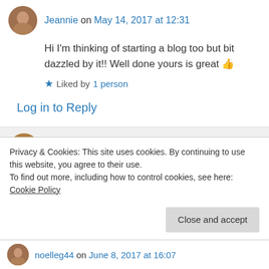Jeannie on May 14, 2017 at 12:31
Hi I'm thinking of starting a blog too but bit dazzled by it!! Well done yours is great 👍
★ Liked by 1 person
Log in to Reply
jorobertson2015 on May 14, 2017 at 12:50
Thank you! 😊
Privacy & Cookies: This site uses cookies. By continuing to use this website, you agree to their use.
To find out more, including how to control cookies, see here: Cookie Policy
Close and accept
noelleg44 on June 8, 2017 at 16:07